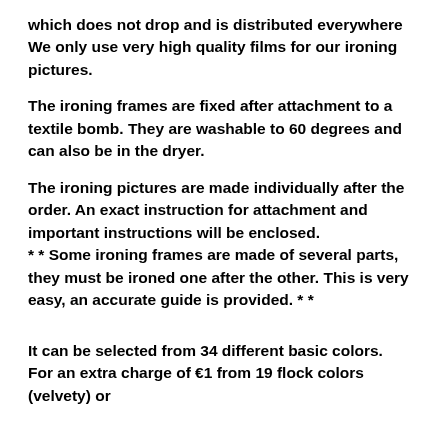which does not drop and is distributed everywhere We only use very high quality films for our ironing pictures.
The ironing frames are fixed after attachment to a textile bomb. They are washable to 60 degrees and can also be in the dryer.
The ironing pictures are made individually after the order. An exact instruction for attachment and important instructions will be enclosed.
* * Some ironing frames are made of several parts, they must be ironed one after the other. This is very easy, an accurate guide is provided. * *
It can be selected from 34 different basic colors.
For an extra charge of €1 from 19 flock colors (velvety) or